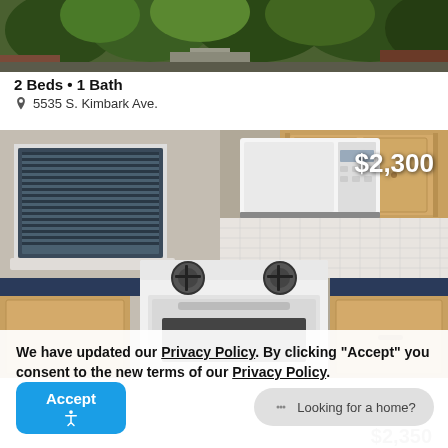[Figure (photo): Exterior photo of a brick apartment building with lush green trees along the sidewalk, taken from street level]
2 Beds • 1 Bath
5535 S. Kimbark Ave.
[Figure (photo): Interior kitchen photo showing wood cabinets, blue countertops, white gas stove and white microwave. Price overlay shows $2,300]
We have updated our Privacy Policy. By clicking "Accept" you consent to the new terms of our Privacy Policy.